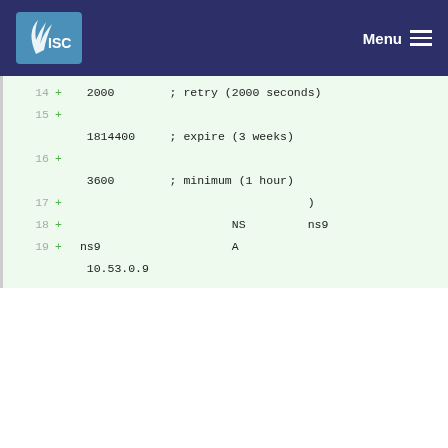ISC Menu
14  +  2000        ; retry (2000 seconds)
15  +  1814400     ; expire (3 weeks)
16  +  3600        ; minimum (1 hour)
17  +                                )
18  +                       NS       ns9
19  + ns9                   A
   10.53.0.9
‹ Prev  1  Next ›
Please register or sign in to comment